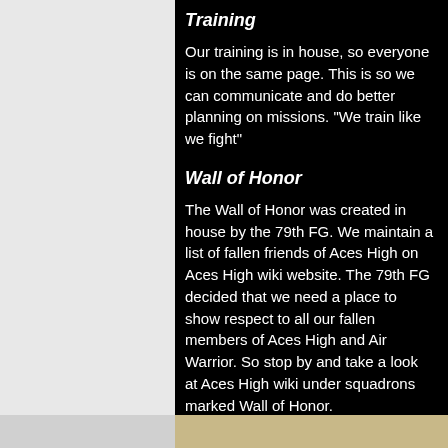Training
Our training is in house, so everyone is on the same page. This is so we can communicate and do better planning on missions. "We train like we fight"
Wall of Honor
The Wall of Honor was created in house by the 79th FG. We maintain a list of fallen friends of Aces High on Aces High wiki website. The 79th FG decided that we need a place to show respect to all our fallen members of Aces High and Air Warrior. So stop by and take a look at Aces High wiki under squadrons marked Wall of Honor.